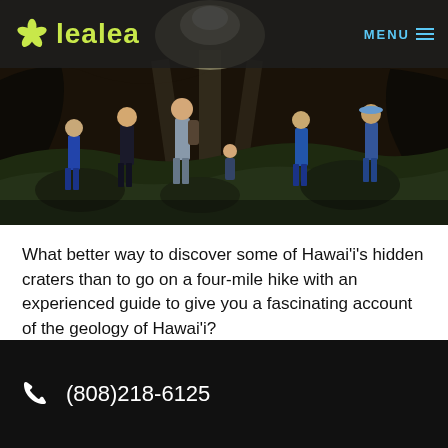[Figure (logo): LeaLea logo with green flower/hibiscus icon and green text on dark semi-transparent header bar, with blue MENU text and hamburger icon on right]
[Figure (photo): Group of people hiking through a dark volcanic cave or lava tube with moss-covered rocks and dramatic lighting from above]
What better way to discover some of Hawai'i's hidden craters than to go on a four-mile hike with an experienced guide to give you a fascinating account of the geology of Hawai'i?
Read More >>
(808)218-6125